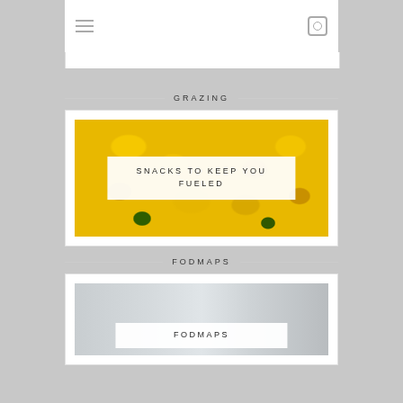GRAZING
[Figure (photo): Close-up photo of yellow summer squash/zucchini with a white overlay box reading SNACKS TO KEEP YOU FUELED]
FODMAPS
[Figure (photo): Photo of a light gray interior/furniture scene with a white overlay box reading FODMAPS]